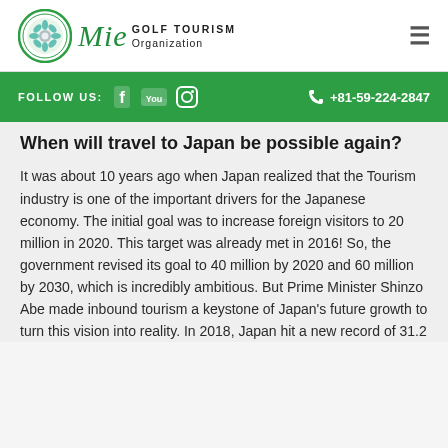Mie GOLF TOURISM Organization
FOLLOW US:   +81-59-224-2847
When will travel to Japan be possible again?
It was about 10 years ago when Japan realized that the Tourism industry is one of the important drivers for the Japanese economy. The initial goal was to increase foreign visitors to 20 million in 2020. This target was already met in 2016! So, the government revised its goal to 40 million by 2020 and 60 million by 2030, which is incredibly ambitious. But Prime Minister Shinzo Abe made inbound tourism a keystone of Japan's future growth to turn this vision into reality. In 2018, Japan hit a new record of 31.2